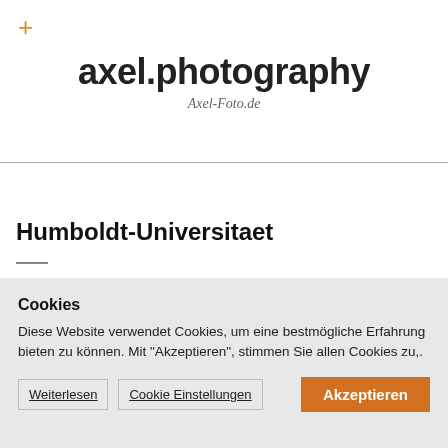+
axel.photography
Axel-Foto.de
Humboldt-Universitaet
Cookies
Diese Website verwendet Cookies, um eine bestmögliche Erfahrung bieten zu können. Mit „Akzeptieren“, stimmen Sie allen Cookies zu,.
Weiterlesen  Cookie Einstellungen  Akzeptieren